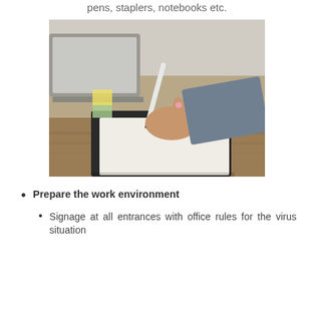pens, staplers, notebooks etc.
[Figure (photo): A person's hand writing on a clipboard with a pen, with a laptop in the background on a wooden desk.]
Prepare the work environment
Signage at all entrances with office rules for the virus situation